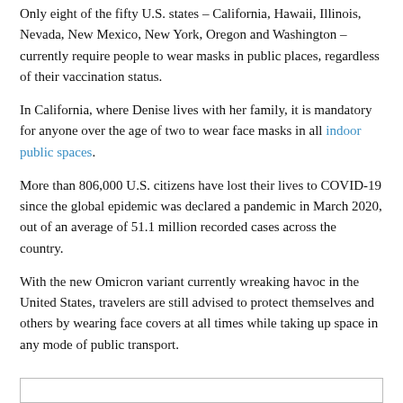Only eight of the fifty U.S. states – California, Hawaii, Illinois, Nevada, New Mexico, New York, Oregon and Washington – currently require people to wear masks in public places, regardless of their vaccination status.
In California, where Denise lives with her family, it is mandatory for anyone over the age of two to wear face masks in all indoor public spaces.
More than 806,000 U.S. citizens have lost their lives to COVID-19 since the global epidemic was declared a pandemic in March 2020, out of an average of 51.1 million recorded cases across the country.
With the new Omicron variant currently wreaking havoc in the United States, travelers are still advised to protect themselves and others by wearing face covers at all times while taking up space in any mode of public transport.